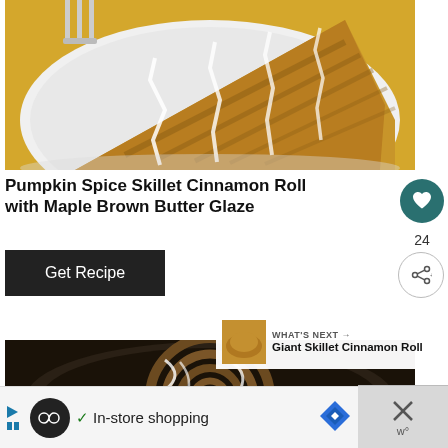[Figure (photo): A slice of pumpkin spice skillet cinnamon roll with maple brown butter glaze drizzled on top, served on a white plate, yellow cloth in background]
Pumpkin Spice Skillet Cinnamon Roll with Maple Brown Butter Glaze
Get Recipe
[Figure (photo): A giant skillet cinnamon roll viewed from above in a dark skillet, with white icing drizzled on top]
WHAT'S NEXT → Giant Skillet Cinnamon Roll
✓ In-store shopping